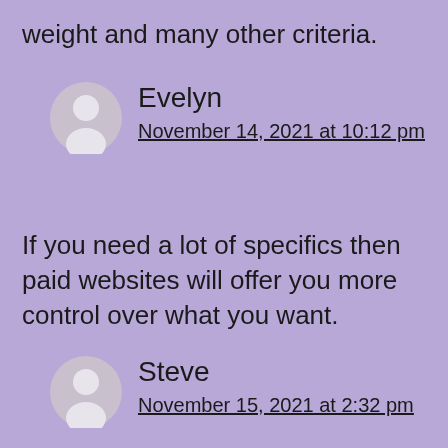weight and many other criteria.
Evelyn
November 14, 2021 at 10:12 pm
If you need a lot of specifics then paid websites will offer you more control over what you want.
Steve
November 15, 2021 at 2:32 pm